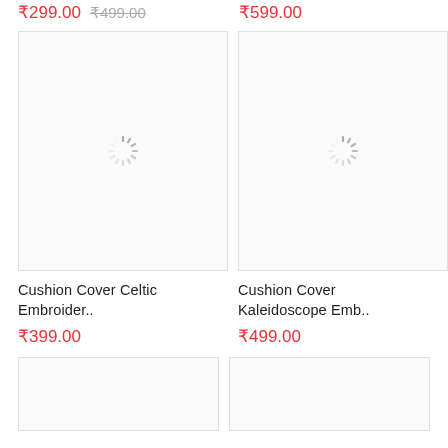₹299.00  ₹499.00
₹599.00
[Figure (photo): Product image placeholder with loading spinner for Cushion Cover Celtic Embroider..]
[Figure (photo): Product image placeholder with loading spinner for Cushion Cover Kaleidoscope Emb..]
Cushion Cover Celtic Embroider..
₹399.00
Cushion Cover Kaleidoscope Emb..
₹499.00
[Figure (photo): Product image placeholder (bottom left)]
[Figure (photo): Product image placeholder (bottom right)]